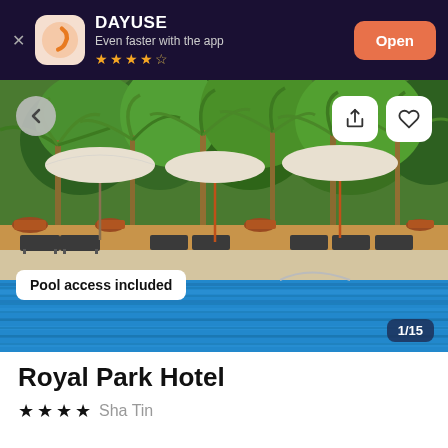DAYUSE – Even faster with the app – Open
[Figure (photo): Hotel outdoor swimming pool with lounge chairs, beach umbrellas, tropical trees and lush greenery in the background. Blue water in foreground.]
Pool access included
Royal Park Hotel
★★★★  Sha Tin